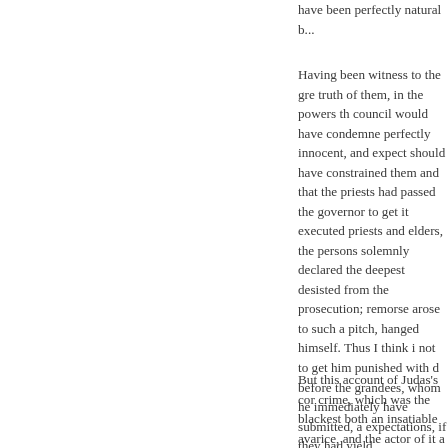have been perfectly natural b...
Having been witness to the gre truth of them, in the powers th council would have condemne perfectly innocent, and expect should have constrained them and that the priests had passed the governor to get it executed priests and elders, the persons solemnly declared the deepest desisted from the prosecution; remorse arose to such a pitch, hanged himself. Thus I think i not to get him punished with d before the grandees, whom he immediately have submitted, a expectations, if they had yield
But this account of Judas's cor crime, which was the blackest both an insatiable avarice, and the actor of it a disgrace to hu action in a proper light, and to